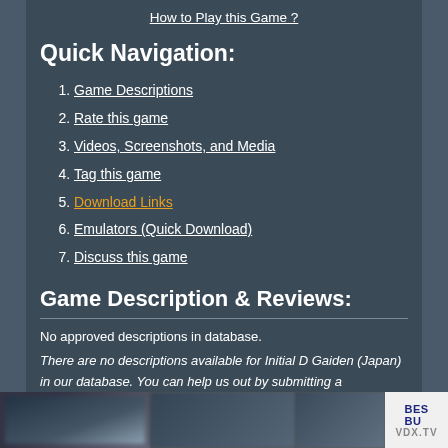How to Play this Game ?
Quick Navigation:
1. Game Descriptions
2. Rate this game
3. Videos, Screenshots, and Media
4. Tag this game
5. Download Links
6. Emulators (Quick Download)
7. Discuss this game
Game Description & Reviews:
No approved descriptions in database.
There are no descriptions available for Initial D Gaiden (Japan) in our database. You can help us out by submitting a description for this title. Chances are, that since you are here, you must have either played or are going to play this game. It would be really… read more
[Figure (screenshot): Advertisement banner at the bottom of the page showing blurred images and Best Buy / VDX.TV logo]